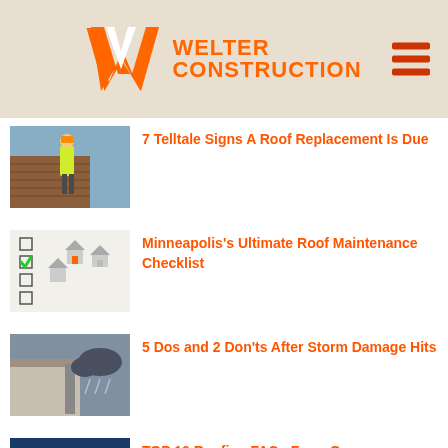WELTER CONSTRUCTION
7 Telltale Signs A Roof Replacement Is Due
Minneapolis's Ultimate Roof Maintenance Checklist
5 Dos and 2 Don'ts After Storm Damage Hits
TOP 10 Roofing FAQs From Our